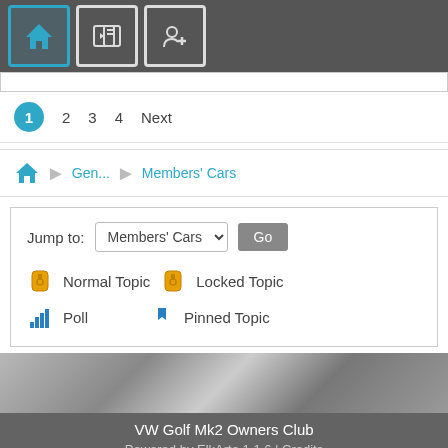[Figure (screenshot): Top navigation bar with home icon (active/highlighted in teal), login icon, and user-add icon on dark grey background]
1  2  3  4  Next
[Figure (screenshot): Breadcrumb navigation: home icon > Gen... > Members' Cars]
Jump to: Members' Cars ▾  Go
Normal Topic 🔒 Locked Topic
📊 Poll  📌 Pinned Topic
[Figure (photo): Blurred metallic/car surface photo band]
VW Golf Mk2 Owners Club
Powered by ElkArte 1.1.6 | Credits